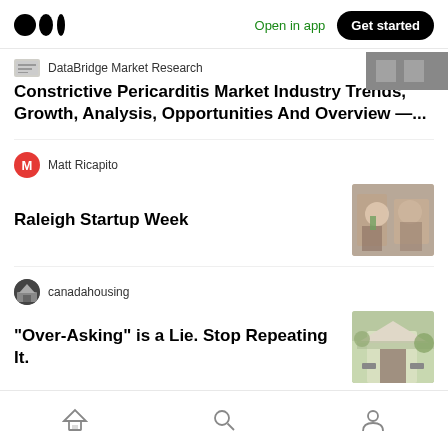Medium logo | Open in app | Get started
DataBridge Market Research
Constrictive Pericarditis Market Industry Trends, Growth, Analysis, Opportunities And Overview —...
Matt Ricapito
Raleigh Startup Week
canadahousing
“Over-Asking” is a Lie. Stop Repeating It.
Home | Search | Profile